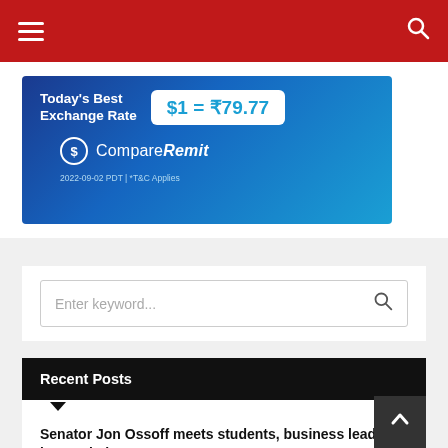Navigation bar with hamburger menu and search icon
[Figure (other): CompareRemit advertisement banner showing Today's Best Exchange Rate $1 = ₹79.77, with CompareRemit logo and date 2022-09-02 PDT | *T&C Applies]
Enter keyword...
Recent Posts
Senator Jon Ossoff meets students, business leaders in Mumbai